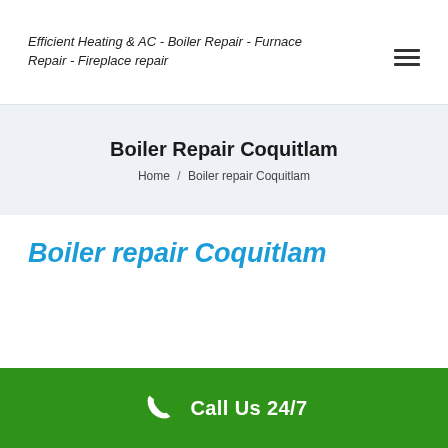Efficient Heating & AC - Boiler Repair - Furnace Repair - Fireplace repair
Boiler Repair Coquitlam
Home / Boiler repair Coquitlam
Boiler repair Coquitlam
[Figure (photo): A white wall-mounted boiler/furnace unit]
Call Us 24/7